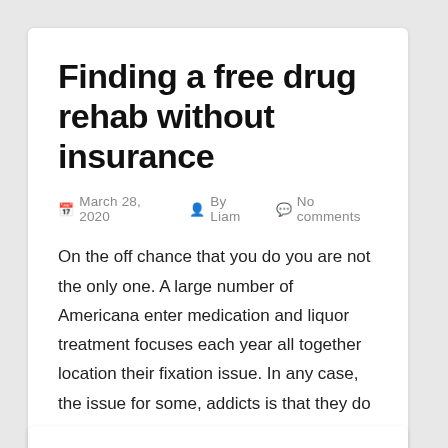Finding a free drug rehab without insurance
March 28, 2020   By Liam   No comments
On the off chance that you do you are not the only one. A large number of Americana enter medication and liquor treatment focuses each year all together location their fixation issue. In any case, the issue for some, addicts is that they do not have the cash or protection to pay for their treatment. [...]